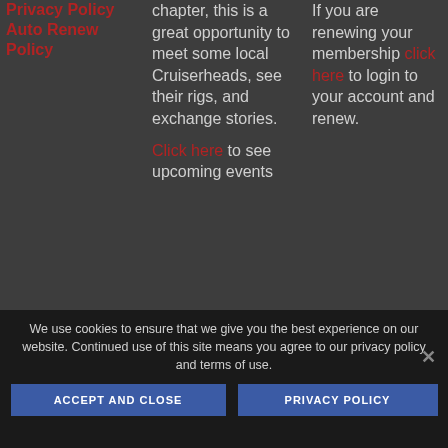Privacy Policy Auto Renew Policy
chapter, this is a great opportunity to meet some local Cruiserheads, see their rigs, and exchange stories. Click here to see upcoming events
If you are renewing your membership click here to login to your account and renew.
We use cookies to ensure that we give you the best experience on our website. Continued use of this site means you agree to our privacy policy and terms of use.
ACCEPT AND CLOSE
PRIVACY POLICY